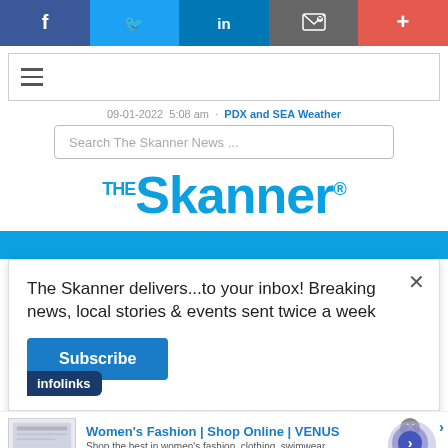[Figure (infographic): Social media share bar with Facebook (dark blue), Twitter (light blue), LinkedIn (medium blue), Email (gray), and Plus/More (red-orange) buttons]
[Figure (screenshot): Navigation bar with hamburger menu icon inside a bordered box]
09-01-2022  5:08 am  ·  PDX and SEA Weather
[Figure (screenshot): Search box with placeholder text: Search The Skanner News ...]
[Figure (logo): The Skanner logo in large blue text with 'THE' superscript and registered trademark symbol]
[Figure (screenshot): Blue horizontal navigation bar]
The Skanner delivers...to your inbox! Breaking news, local stories & events sent twice a week
[Figure (screenshot): Subscribe button (blue) and infolinks badge]
[Figure (infographic): Women's Fashion | Shop Online | VENUS advertisement. Text: Shop the best in women's fashion, clothing, swimwear. URL: venus.com]
[Figure (infographic): Constant Staffing ad. ESTAMOS CONTRATANDO BILINGUES. Bullets: TRABAJADORES DE BODEGA, EMPACADORES, PERSONAL ADMINISTRATIVO. Phone: 713-714-8909]